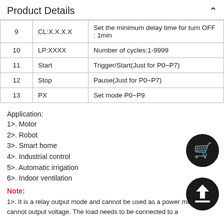Product Details
| # | Code | Description |
| --- | --- | --- |
| 9 | CL:X.X.X.X | Set the minimum delay time for turn OFF : 1min |
| 10 | LP:XXXX | Number of cycles:1-9999 |
| 11 | Start | Trigger/Start(Just for P0~P7) |
| 12 | Stop | Pause(Just for P0~P7) |
| 13 | PX | Set mode P0~P9 |
Application:
1>. Motor
2>. Robot
3>. Smart home
4>. Industrial control
5>. Automatic irrigation
6>. Indoor ventilation
Note:
1>. It is a relay output mode and cannot be used as a power module. It cannot output voltage. The load needs to be connected to a